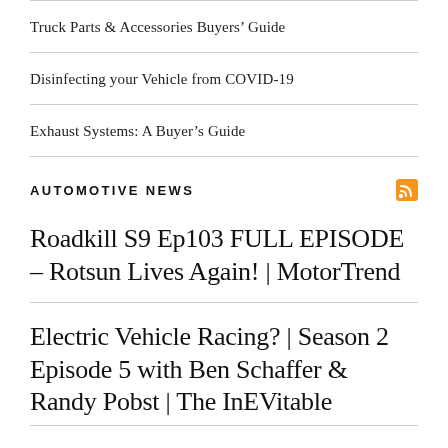Truck Parts & Accessories Buyers' Guide
Disinfecting your Vehicle from COVID-19
Exhaust Systems: A Buyer's Guide
AUTOMOTIVE NEWS
Roadkill S9 Ep103 FULL EPISODE – Rotsun Lives Again! | MotorTrend
Electric Vehicle Racing? | Season 2 Episode 5 with Ben Schaffer & Randy Pobst | The InEVitable